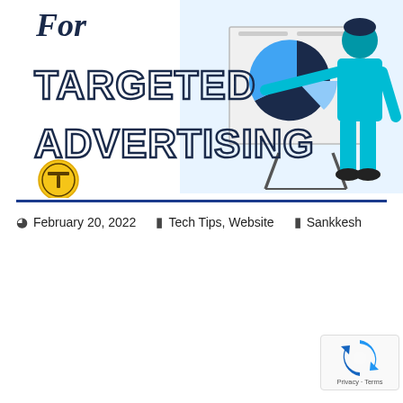[Figure (illustration): Blog post banner image showing text 'For TARGETED ADVERTISING' in bold outlined font on the left side with a gold/yellow circular logo icon below it, and on the right side an illustration of a person in blue clothes pointing at a chart/presentation board with a pie chart. Light blue and white color scheme.]
February 20, 2022  Tech Tips, Website  Sankkesh